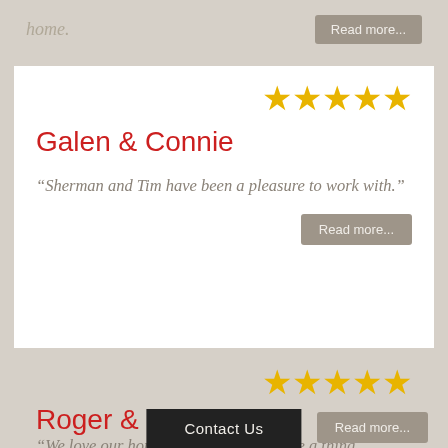home.
Read more...
[Figure (other): Five gold stars rating]
Galen & Connie
“Sherman and Tim have been a pleasure to work with.”
Read more...
[Figure (other): Five gold stars rating]
Roger & Carolyn
“We love our home and wouldn’t change a thing. Everyone who comes here likes it. Very good workers; all easy to work with.”
Read more...
Contact Us